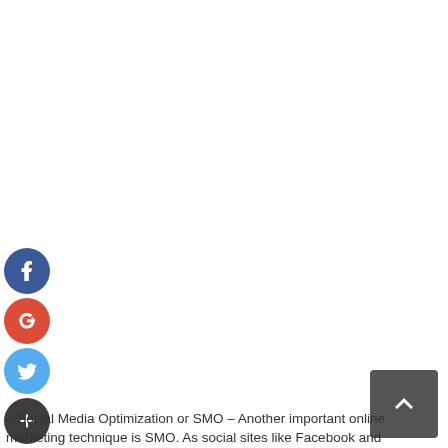[Figure (illustration): Four social media / sharing icon buttons stacked vertically on the left side: Facebook (blue circle with 'f'), Google+ (red circle with 'g+'), Twitter (blue circle with bird), and a dark Add/share circle with '+'.]
[Figure (illustration): Dark grey rounded rectangle button in bottom-right corner with a white upward-pointing chevron arrow (back-to-top button).]
– Social Media Optimization or SMO – Another important online marketing technique is SMO. As social sites like Facebook and